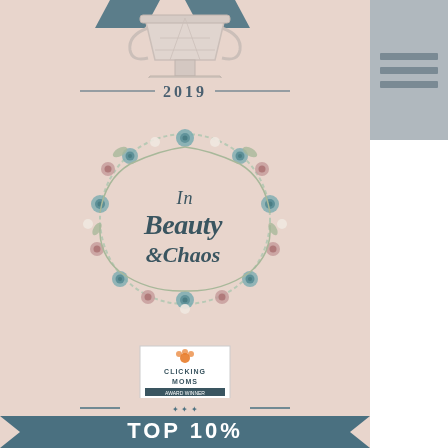[Figure (illustration): Award trophy icon at top on pink/blush background]
2019
[Figure (logo): In Beauty & Chaos logo with floral wreath surround, hand-lettered script text]
[Figure (logo): Clicking Moms award badge/logo]
[Figure (illustration): TOP 10% banner ribbon at bottom in teal/slate blue]